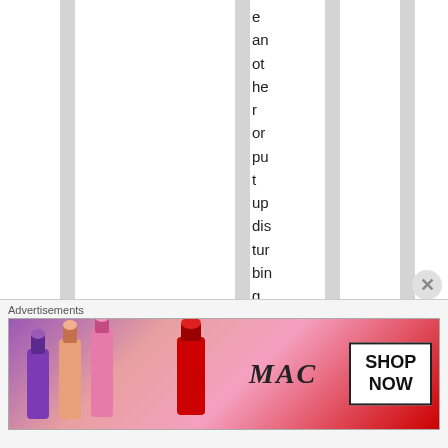e an ot he r or pu t up dis tur bin g ph ot os ...
[Figure (illustration): Advertisement banner for MAC cosmetics showing lipsticks in purple, peach, pink, and red colors with MAC logo and SHOP NOW button]
Advertisements